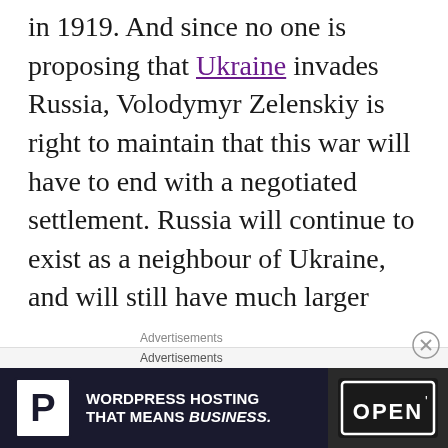in 1919. And since no one is proposing that Ukraine invades Russia, Volodymyr Zelenskiy is right to maintain that this war will have to end with a negotiated settlement. Russia will continue to exist as a neighbour of Ukraine, and will still have much larger armed forces. There will only be a lasting peace if we do not leave Russia nursing a grievance, isolated and waiting for the next opportunity to invade.
Advertisements
Advertisements
[Figure (other): Advertisement banner: WordPress Hosting That Means BUSINESS. with a P logo on the left and an OPEN sign photo on the right.]